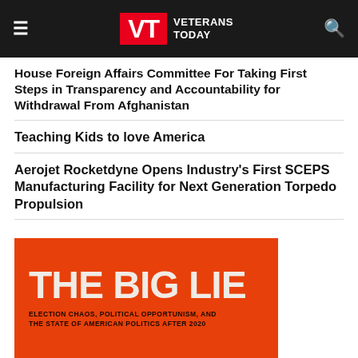Veterans Today
House Foreign Affairs Committee For Taking First Steps in Transparency and Accountability for Withdrawal From Afghanistan
Teaching Kids to love America
Aerojet Rocketdyne Opens Industry's First SCEPS Manufacturing Facility for Next Generation Torpedo Propulsion
[Figure (photo): Book cover with orange background showing 'THE BIG LIE' in large white text, subtitle: 'ELECTION CHAOS, POLITICAL OPPORTUNISM, AND THE STATE OF AMERICAN POLITICS AFTER 2020']